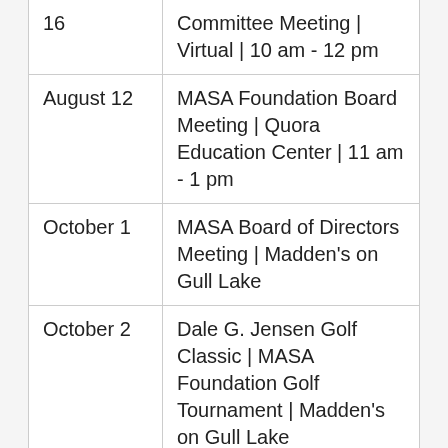| Date | Event |
| --- | --- |
| 16 | Committee Meeting | Virtual | 10 am - 12 pm |
| August 12 | MASA Foundation Board Meeting | Quora Education Center | 11 am - 1 pm |
| October 1 | MASA Board of Directors Meeting | Madden's on Gull Lake |
| October 2 | Dale G. Jensen Golf Classic | MASA Foundation Golf Tournament | Madden's on Gull Lake |
| October 2-4 | MASA Fall Conference | Madden's on Gull Lake |
| Octobe | MSHSL/MASA Executive |